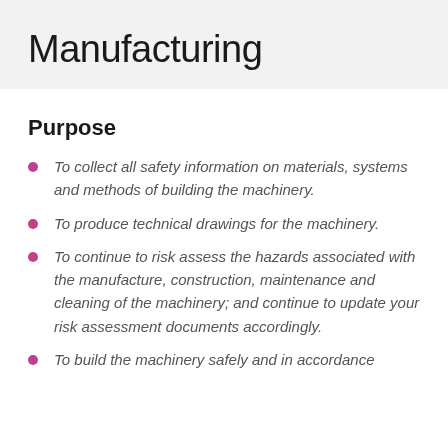Manufacturing
Purpose
To collect all safety information on materials, systems and methods of building the machinery.
To produce technical drawings for the machinery.
To continue to risk assess the hazards associated with the manufacture, construction, maintenance and cleaning of the machinery; and continue to update your risk assessment documents accordingly.
To build the machinery safely and in accordance